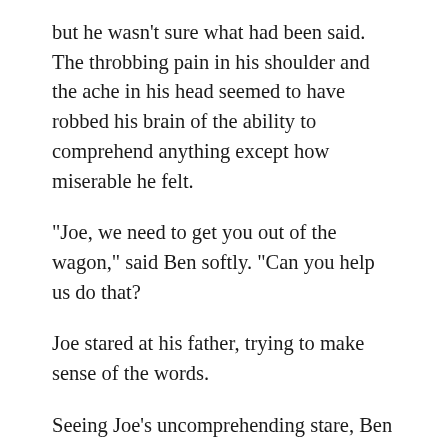but he wasn't sure what had been said. The throbbing pain in his shoulder and the ache in his head seemed to have robbed his brain of the ability to comprehend anything except how miserable he felt.
“Joe, we need to get you out of the wagon,” said Ben softly. “Can you help us do that?
Joe stared at his father, trying to make sense of the words.
Seeing Joe’s uncomprehending stare, Ben shook his head a bit. “We’re going to have to do it without Joe’s help. Would you sit him up, Mrs. Dawson?” Without waiting for an answer, Ben climbed out of the wagon.
Standing at the back of the wagon, Ben watched as Mrs.